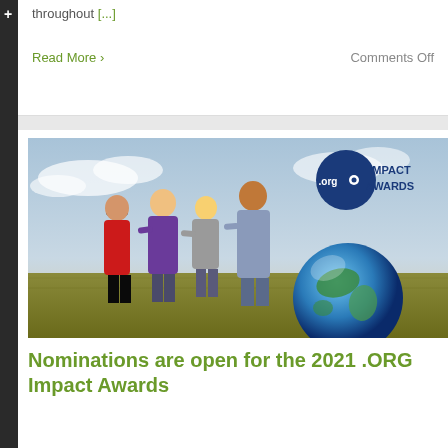throughout [...]
Read More ›
Comments Off
[Figure (photo): Four children standing in a field with their arms around each other, backs to camera, with a large globe beside them. An .ORG IMPACT AWARDS logo appears in the upper right corner of the image.]
Nominations are open for the 2021 .ORG Impact Awards
By Jonathan Thomas | May 25th, 2021 | Categories: Charity, Contests,